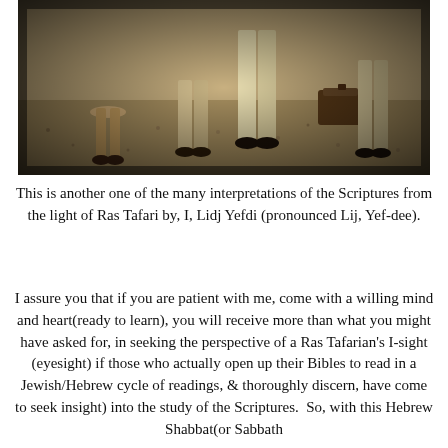[Figure (photo): Sepia-toned vintage photograph showing the lower bodies and legs of several people standing/sitting on a gravel or dirt surface, with luggage visible. The image has dark vignette edges.]
This is another one of the many interpretations of the Scriptures from the light of Ras Tafari by, I, Lidj Yefdi (pronounced Lij, Yef-dee).
I assure you that if you are patient with me, come with a willing mind and heart(ready to learn), you will receive more than what you might have asked for, in seeking the perspective of a Ras Tafarian's I-sight (eyesight) if those who actually open up their Bibles to read in a Jewish/Hebrew cycle of readings, & thoroughly discern, have come to seek insight) into the study of the Scriptures.  So, with this Hebrew Shabbat(or Sabbath